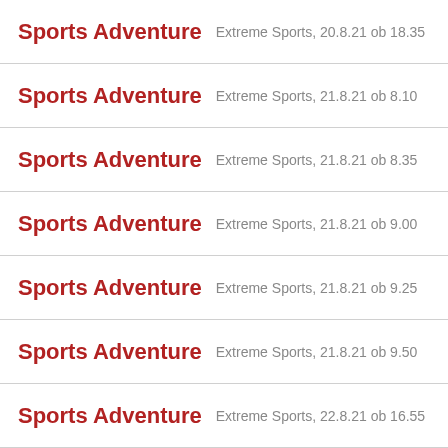Sports Adventure — Extreme Sports, 20.8.21 ob 18.35
Sports Adventure — Extreme Sports, 21.8.21 ob 8.10
Sports Adventure — Extreme Sports, 21.8.21 ob 8.35
Sports Adventure — Extreme Sports, 21.8.21 ob 9.00
Sports Adventure — Extreme Sports, 21.8.21 ob 9.25
Sports Adventure — Extreme Sports, 21.8.21 ob 9.50
Sports Adventure — Extreme Sports, 22.8.21 ob 16.55